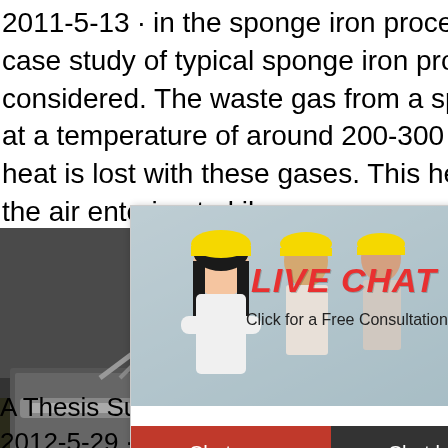2011-5-13 · in the sponge iron process. For this purpose a case study of typical sponge iron production process is considered. The waste gas from a sponge iron plant exits at a temperature of around 200-300 C. A lot of sensible heat is lost with these gases. This heat is utilized to preheat the air entering to kiln.
Read More
[Figure (photo): Industrial machinery/equipment photo on the left side]
[Figure (screenshot): Live chat popup overlay with people wearing yellow hard hats, LIVE CHAT heading, Click for a Free Consultation text, Chat now and Chat later buttons]
[Figure (photo): Right sidebar showing hour online, industrial cone crusher machine image, Click me to chat>> button, Enquiry section, limingjlmofen text on blue background]
A Thesis Submitted for Partial Fulfillment of the D 2012-5-29 · 1.1 Image of a Sponge Iron G Microscopic view of sponge iron 4 3.1 Mate Rotary Kiln sponge iron plant 14 3.2 Energy Rotary Kiln sponge based iron making 14 3 optimised Rotary kiln sponge iron making p